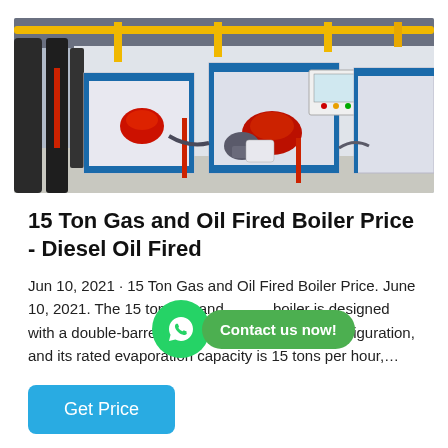[Figure (photo): Industrial boiler room with large white gas and oil fired boiler units, blue base frames, red burner heads, yellow pipes overhead, black insulated pipes on left]
15 Ton Gas and Oil Fired Boiler Price - Diesel Oil Fired
Jun 10, 2021 · 15 Ton Gas and Oil Fired Boiler Price. June 10, 2021. The 15 ton gas and oil boiler is designed with a double-barrel structure D-shaped configuration, and its rated evaporation capacity is 15 tons per hour,...
Get Price